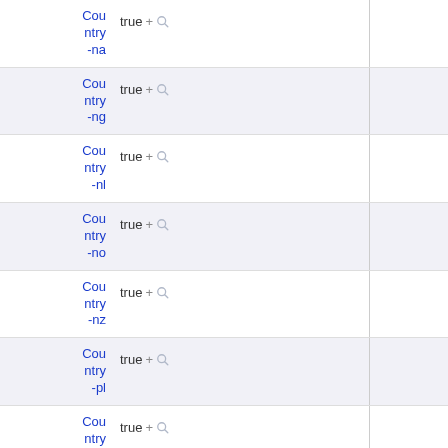| Name | Value |
| --- | --- |
| Country-na | true |
| Country-ng | true |
| Country-nl | true |
| Country-no | true |
| Country-nz | true |
| Country-pl | true |
| Country-pt | true |
| Country-… |  |